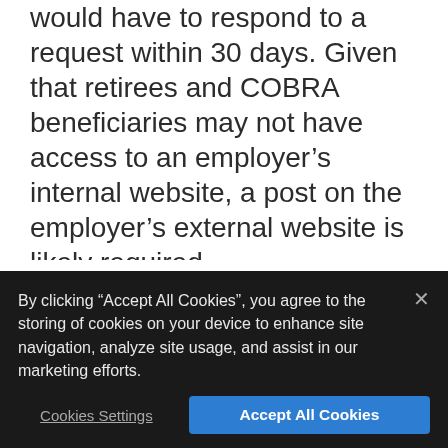would have to respond to a request within 30 days. Given that retirees and COBRA beneficiaries may not have access to an employer's internal website, a post on the employer's external website is likely required.
For employers with many part-time employees, retirees, or COBRA beneficiaries, this relief
By clicking “Accept All Cookies”, you agree to the storing of cookies on your device to enhance site navigation, analyze site usage, and assist in our marketing efforts.